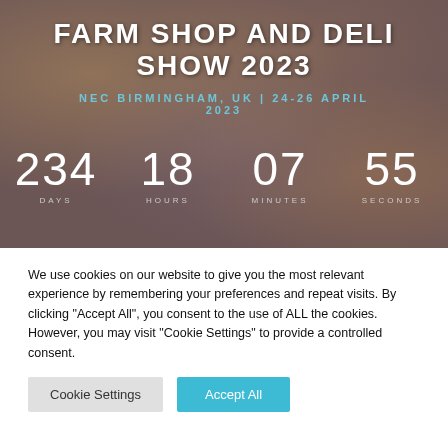FARM SHOP AND DELI SHOW 2023
NEC BIRMINGHAM, UK | 24-26 APRIL 2023
234 DAYS   18 HOURS   07 MINUTES   55 SECONDS
We use cookies on our website to give you the most relevant experience by remembering your preferences and repeat visits. By clicking "Accept All", you consent to the use of ALL the cookies. However, you may visit "Cookie Settings" to provide a controlled consent.
Cookie Settings  Accept All